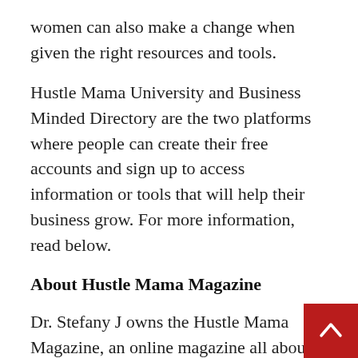women can also make a change when given the right resources and tools.
Hustle Mama University and Business Minded Directory are the two platforms where people can create their free accounts and sign up to access information or tools that will help their business grow. For more information, read below.
About Hustle Mama Magazine
Dr. Stefany J owns the Hustle Mama Magazine, an online magazine all about empowering women in different communities from all over the world. There are various articles and blogs on the magazine’s website where Dr. Stefany J. shows how to harness one’s power and build a digital emp… She talks about building wealth, digital assets, and thriving, not just surviving. Women can learn from…